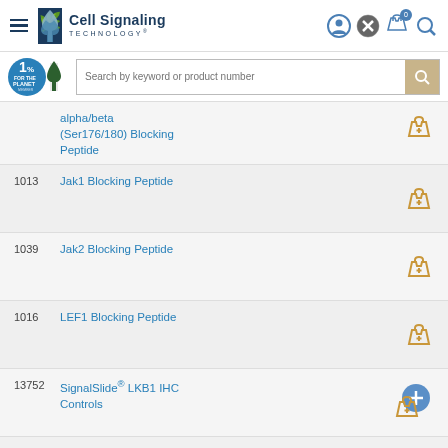[Figure (screenshot): Cell Signaling Technology website header with logo, hamburger menu, and navigation icons]
[Figure (screenshot): 1% for the Planet badge and search bar with keyword/product number placeholder]
alpha/beta (Ser176/180) Blocking Peptide
1013 Jak1 Blocking Peptide
1039 Jak2 Blocking Peptide
1016 LEF1 Blocking Peptide
13752 SignalSlide® LKB1 IHC Controls